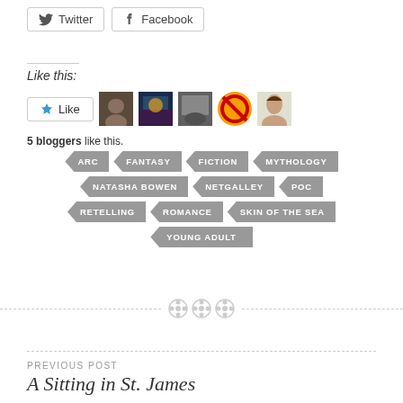[Figure (other): Twitter and Facebook share buttons]
Like this:
[Figure (other): Like button with 5 blogger avatars]
5 bloggers like this.
ARC
FANTASY
FICTION
MYTHOLOGY
NATASHA BOWEN
NETGALLEY
POC
RETELLING
ROMANCE
SKIN OF THE SEA
YOUNG ADULT
[Figure (other): Three button/dot decorative divider]
PREVIOUS POST
A Sitting in St. James